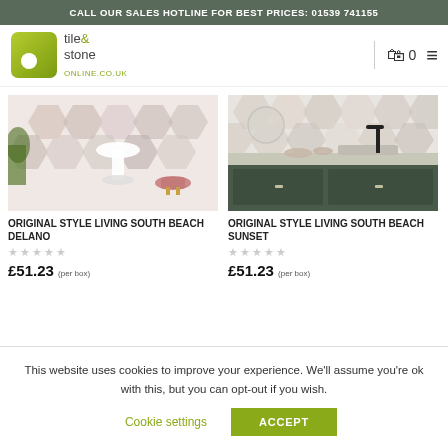CALL OUR SALES HOTLINE FOR BEST PRICES: 01539 741155
[Figure (logo): Tile & Stone Online logo — green rounded square with white circle, text 'tile & stone ONLINE.CO.UK']
[Figure (photo): Bathroom with hexagonal patterned wall tiles in muted pink/grey tones, white pedestal sink, pink velvet stool with gold base]
ORIGINAL STYLE LIVING SOUTH BEACH DELANO
£51.23 (per box)
[Figure (photo): Kitchen with hexagonal patterned tiles in grey/white/blush tones on backsplash, dark green cabinets, black faucet, ceramic bowls]
ORIGINAL STYLE LIVING SOUTH BEACH SUNSET
£51.23 (per box)
This website uses cookies to improve your experience. We'll assume you're ok with this, but you can opt-out if you wish.
Cookie settings   ACCEPT